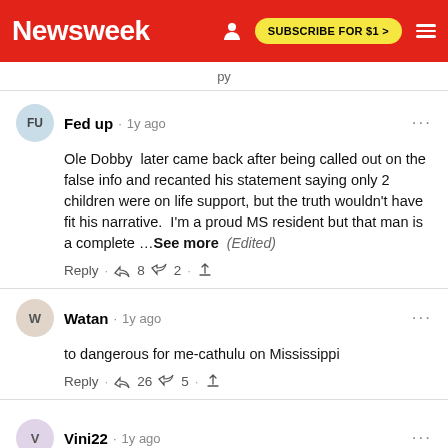Newsweek | SUBSCRIBE FOR $1 >
py
Fed up · 1y ago
Ole Dobby later came back after being called out on the false info and recanted his statement saying only 2 children were on life support, but the truth wouldn't have fit his narrative. I'm a proud MS resident but that man is a complete …See more (Edited)
Reply · 👍 8 👎 2 · share
Watan · 1y ago
to dangerous for me-cathulu on Mississippi
Reply · 👍 26 👎 5 · share
Vini22 · 1y ago